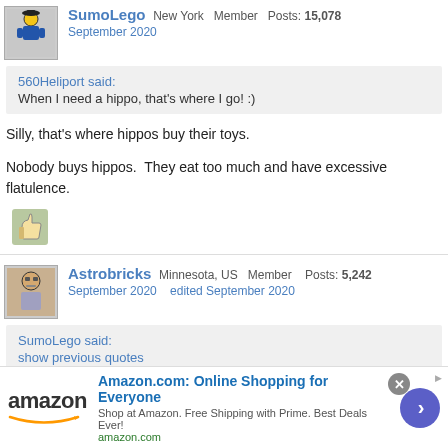SumoLego New York Member Posts: 15,078
September 2020
560Heliport said:
When I need a hippo, that's where I go! :)
Silly, that's where hippos buy their toys.
Nobody buys hippos.  They eat too much and have excessive flatulence.
[Figure (illustration): Thumbs up icon/reaction image]
Astrobricks Minnesota, US Member Posts: 5,242
September 2020   edited September 2020
SumoLego said:
show previous quotes
Silly, that's where hippos buy their toys.
Nobody buys hippos.  They eat too much and have excessive
[Figure (infographic): Amazon advertisement banner: Amazon.com: Online Shopping for Everyone. Shop at Amazon. Free Shipping with Prime. Best Deals Ever! amazon.com]